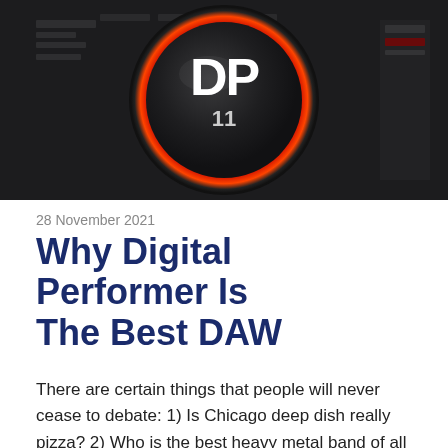[Figure (screenshot): Screenshot of Digital Performer 11 software interface showing the DP11 logo — a large dark circular knob with orange and red gradient ring, displaying 'DP' in white letters and '11' below, set against a dark DAW interface background.]
28 November 2021
Why Digital Performer Is The Best DAW
There are certain things that people will never cease to debate: 1) Is Chicago deep dish really pizza? 2) Who is the best heavy metal band of all time? 3) What is the first house music record? 4) What is the best Digital Audio Workstation (DAW)?